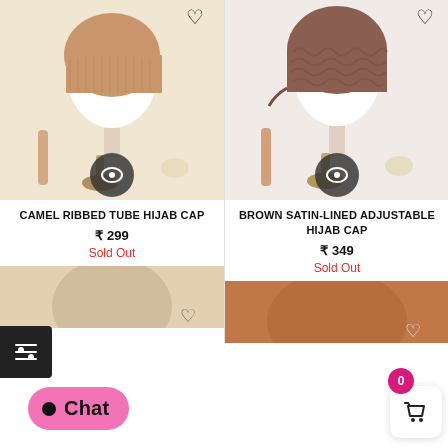[Figure (photo): Camel ribbed tube hijab cap on white mannequin head with gold stand, heart icon top right, eye/quick-view button at bottom center]
[Figure (photo): Brown satin-lined adjustable hijab cap on white mannequin head with gold stand, heart icon top right, eye/quick-view button at bottom center]
CAMEL RIBBED TUBE HIJAB CAP
₹ 299
Sold Out
BROWN SATIN-LINED ADJUSTABLE HIJAB CAP
₹ 349
Sold Out
[Figure (photo): Bottom left partial product photo]
[Figure (photo): Bottom right partial product photo in brown/rust tones]